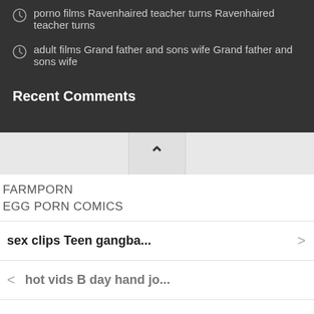porno films Ravenhaired teacher turns Ravenhaired teacher turns
adult films Grand father and sons wife Grand father and sons wife
Recent Comments
FARMPORN
EGG PORN COMICS
sex clips Teen gangba... >
< hot vids B day hand jo...